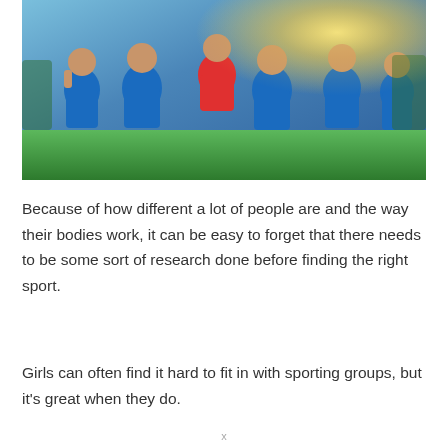[Figure (photo): Group of young girls in blue soccer jerseys celebrating together on a field, with bright sunlight in the background.]
Because of how different a lot of people are and the way their bodies work, it can be easy to forget that there needs to be some sort of research done before finding the right sport.
Girls can often find it hard to fit in with sporting groups, but it's great when they do.
x